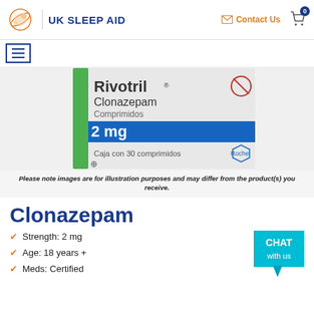UK SLEEP AID | Contact Us | 0
[Figure (photo): Photo of Rivotril Clonazepam Comprimidos 2 mg Caja con 30 comprimidos Roche box]
Please note images are for illustration purposes and may differ from the product(s) you receive.
Clonazepam
Strength: 2 mg
Age: 18 years +
Meds: Certified